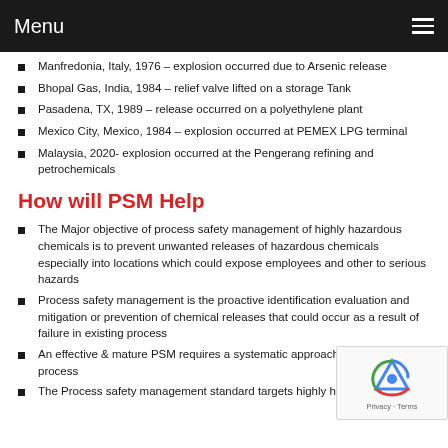Menu
Manfredonia, Italy, 1976 – explosion occurred due to Arsenic release
Bhopal Gas, India, 1984 – relief valve lifted on a storage Tank
Pasadena, TX, 1989 – release occurred on a polyethylene plant
Mexico City, Mexico, 1984 – explosion occurred at PEMEX LPG terminal
Malaysia, 2020- explosion occurred at the Pengerang refining and petrochemicals
How will PSM Help
The Major objective of process safety management of highly hazardous chemicals is to prevent unwanted releases of hazardous chemicals especially into locations which could expose employees and other to serious hazards
Process safety management is the proactive identification evaluation and mitigation or prevention of chemical releases that could occur as a result of failure in existing process
An effective & mature PSM requires a systematic approach to de whole process
The Process safety management standard targets highly hazardous